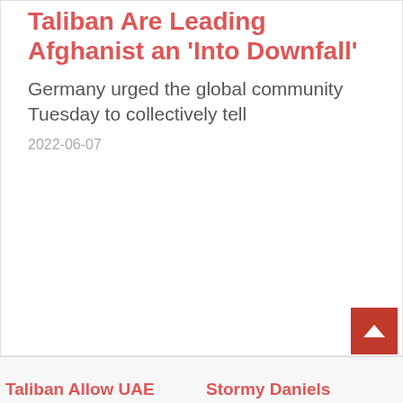Taliban Are Leading Afghanistan 'Into Downfall'
Germany urged the global community Tuesday to collectively tell
2022-06-07
Taliban Allow UAE
Stormy Daniels